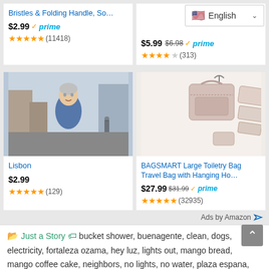[Figure (screenshot): Amazon product listing for brush with folding handle, showing price $2.99, prime badge, and 4.5 star rating (11418 reviews)]
[Figure (screenshot): Language selector dropdown showing English with US flag]
[Figure (photo): Book cover - Lisbon - photo of a man in a European street]
[Figure (photo): BAGSMART Large Toiletry Bag Travel Bag with Hanging Hook, pink/beige color]
Bristles & Folding Handle, So...
$2.99 prime (11418)
$5.99 $6.98 prime (313)
Lisbon
$2.99 (129)
BAGSMART Large Toiletry Bag Travel Bag with Hanging Ho...
$27.99 $31.99 prime (32935)
Ads by Amazon
Just a Story  bucket shower, buenagente, clean, dogs, electricity, fortaleza ozama, hey luz, lights out, mango bread, mango coffee cake, neighbors, no lights, no water, plaza espana, rain, refrigerator, renovada ciudad colonial, shadows, street, sunflwer seeds, sunnies, sweat-balls, sweating, teli,  permalink